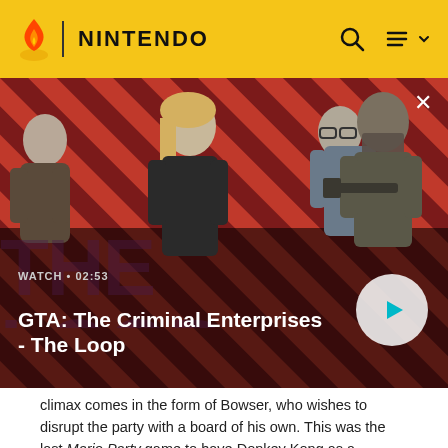NINTENDO
[Figure (screenshot): GTA: The Criminal Enterprises - The Loop video thumbnail with four characters on a red and black striped background. Shows WATCH · 02:53 label and a play button.]
climax comes in the form of Bowser, who wishes to disrupt the party with a board of his own. This was the last Mario Party game to have Donkey Kong as a playable character until Mario Party 10, and was also the first entry in the series to grant players the ability to team up. Although this game does not